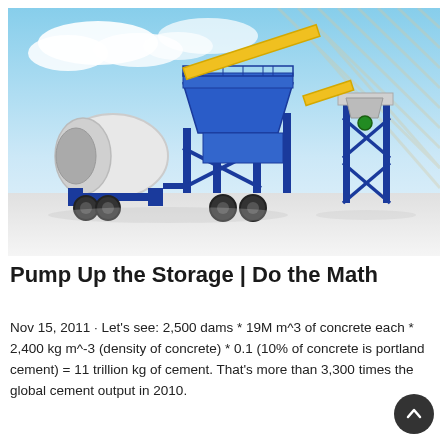[Figure (photo): Photograph of a mobile concrete batching plant with a large blue metal frame structure, white drum mixer, yellow conveyor arm, and additional storage/weighing unit on the right, set against a blue sky and architectural lattice background.]
Pump Up the Storage | Do the Math
Nov 15, 2011 · Let's see: 2,500 dams * 19M m^3 of concrete each * 2,400 kg m^-3 (density of concrete) * 0.1 (10% of concrete is portland cement) = 11 trillion kg of cement. That's more than 3,300 times the global cement output in 2010.